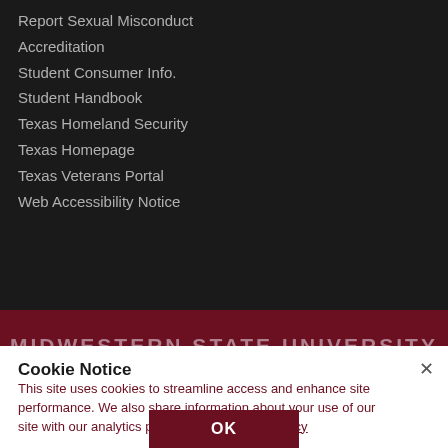Report Sexual Misconduct
Accreditation
Student Consumer Info.
Student Handbook
Texas Homeland Security
Texas Homepage
Texas Veterans Portal
Web Accessibility Notice
MIDWESTERN STATE UNIVERSITY
Cookie Notice
This site uses cookies to streamline access and enhance site performance. We also share information about your use of our site with our analytics partners. Web Privacy Policy